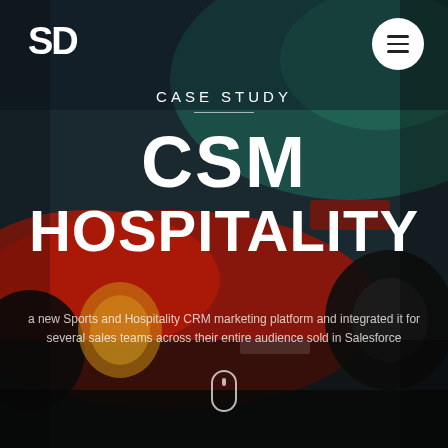[Figure (photo): Background photo of a red Ferrari Formula 1 car (with Shell and Lenovo logos visible) racing on a track, with teal/green track borders visible. The image is dark and motion-blurred.]
SD
CASE STUDY
CSM HOSPITALITY
a new Sports and Hospitality CRM marketing platform and integrated it for several sales teams across their entire audience sold in Salesforce